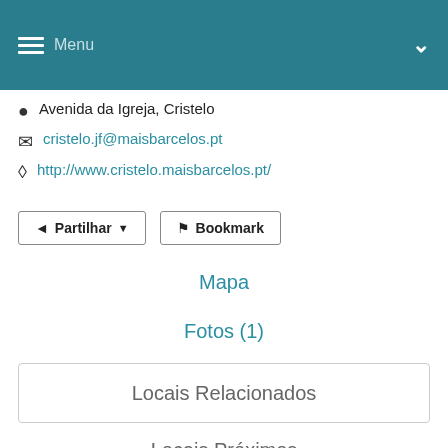Menu
Avenida da Igreja, Cristelo
cristelo.jf@maisbarcelos.pt
http://www.cristelo.maisbarcelos.pt/
Partilhar  Bookmark
Mapa
Fotos (1)
Locais Relacionados
Locais Próximos